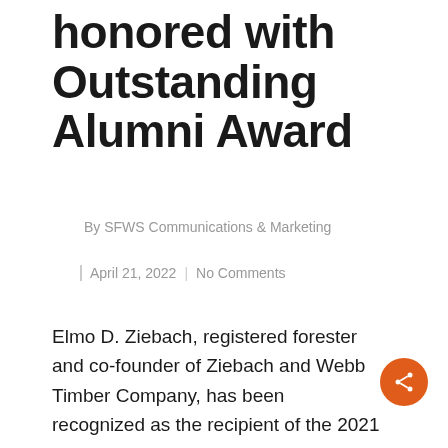honored with Outstanding Alumni Award
By SFWS Communications & Marketing
April 21, 2022  |  No Comments
Elmo D. Ziebach, registered forester and co-founder of Ziebach and Webb Timber Company, has been recognized as the recipient of the 2021 Outstanding Alumni Award by Auburn University's College of